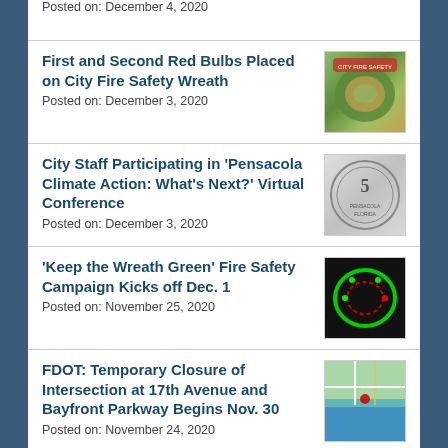Posted on: December 4, 2020
First and Second Red Bulbs Placed on City Fire Safety Wreath
Posted on: December 3, 2020
[Figure (photo): Photo of a fire safety wreath with red bulbs]
City Staff Participating in 'Pensacola Climate Action: What's Next?' Virtual Conference
Posted on: December 3, 2020
[Figure (photo): City of Pensacola official seal]
'Keep the Wreath Green' Fire Safety Campaign Kicks off Dec. 1
Posted on: November 25, 2020
[Figure (photo): Dark background photo of a green lit wreath]
FDOT: Temporary Closure of Intersection at 17th Avenue and Bayfront Parkway Begins Nov. 30
Posted on: November 24, 2020
[Figure (map): Map showing intersection at 17th Avenue and Bayfront Parkway]
Community Partnership Adds Native...